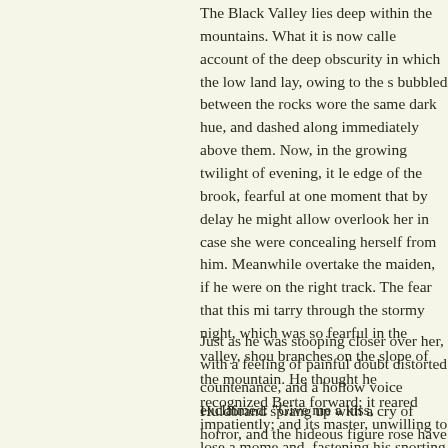The Black Valley lies deep within the mountains. What it is now called account of the deep obscurity in which the low land lay, owing to the s bubbled between the rocks wore the same dark hue, and dashed along immediately above them. Now, in the growing twilight of evening, it l edge of the brook, fearful at one moment that by delay he might allow overlook her in case she were concealing herself from him. Meanwhile overtake the maiden, if he were on the right track. The fear that this mi tarry through the stormy night, which was so fearful in the valley, sho branches on the slope of the mountain. He thought he recognized Bert forward; it reared impatiently; and its master, unwilling to lose a mom and, fastening his snorting steed to an elm-tree, he worked his way ca cold drops of the evening dew; a distant roll of thunder was heard mur began to feel a dread of the white figure, which now lay only a short d asleep or in a swoon, and that she was attired in long white garments, the branches, and let his sword clatter, but she moved not. "Bertalda!" At last, when he uttered the dear name with a more powerful effort, a "Bertalda!" but still the sleeper woke not. He bent down over her; the distinguish her features.
Just as he was stooping closer over her, with a feeling of painful doubt distorted countenance, and a hollow voice exclaimed: "Give me a kiss,
Huldbrand sprang up with a cry of horror, and the hideous figure rose have you!" and it stretched out its long white arms toward him.